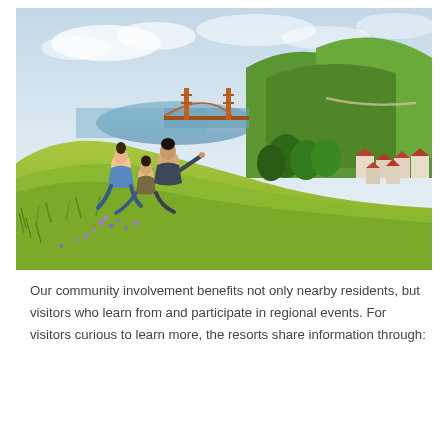[Figure (photo): A family (woman, child, and man) sitting on a grassy hillside with purple wildflowers, looking toward the Golden Gate Bridge in San Francisco. Green hills and residential buildings with red roofs visible in the background under a partly cloudy sky.]
Our community involvement benefits not only nearby residents, but visitors who learn from and participate in regional events. For visitors curious to learn more, the resorts share information through: